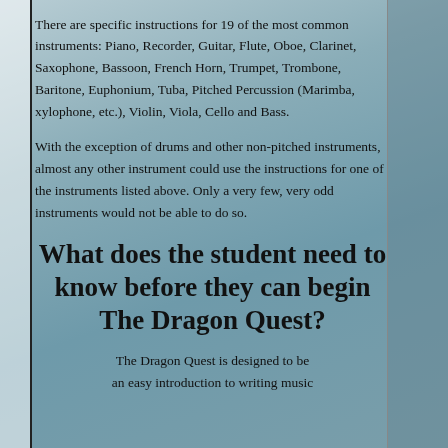There are specific instructions for 19 of the most common instruments: Piano, Recorder, Guitar, Flute, Oboe, Clarinet, Saxophone, Bassoon, French Horn, Trumpet, Trombone, Baritone, Euphonium, Tuba, Pitched Percussion (Marimba, xylophone, etc.), Violin, Viola, Cello and Bass.
With the exception of drums and other non-pitched instruments, almost any other instrument could use the instructions for one of the instruments listed above. Only a very few, very odd instruments would not be able to do so.
What does the student need to know before they can begin The Dragon Quest?
The Dragon Quest is designed to be an easy introduction to writing music